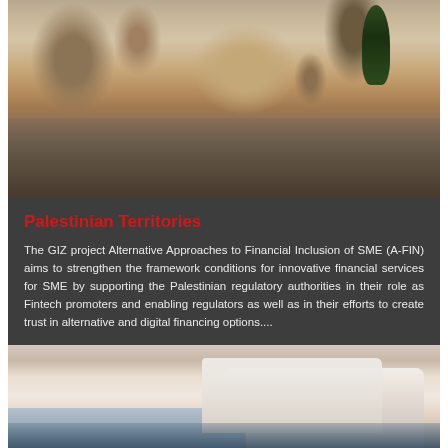[Figure (photo): Aerial view of a Middle Eastern city with historic buildings, domes, and a tall cypress tree]
Palestinian Territories
The GIZ project Alternative Approaches to Financial Inclusion of SME (A-FIN) aims to strengthen the framework conditions for innovative financial services for SME by supporting the Palestinian regulatory authorities in their role as Fintech promoters and enabling regulators as well as in their efforts to create trust in alternative and digital financing options....
[Figure (photo): Coastal Mediterranean town with white buildings on rocky shore at dusk]